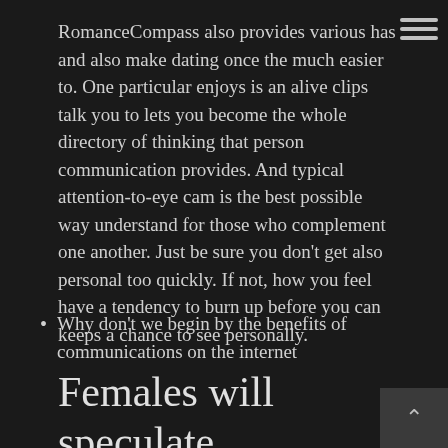RomanceCompass also provides various has and also make dating once the much easier to. One particular enjoys is an alive clips talk you to lets you become the whole directory of thinking that person communication provides. And typical attention-to-eye cam is the best possible way understand for those who complement one another. Just be sure you don't get also personal too quickly. If not, how you feel have a tendency to burn up before you can keeps a chance to see personally.
Why don't we begin by the benefits of communications on the internet
Females will speculate, therefore permit them to do this